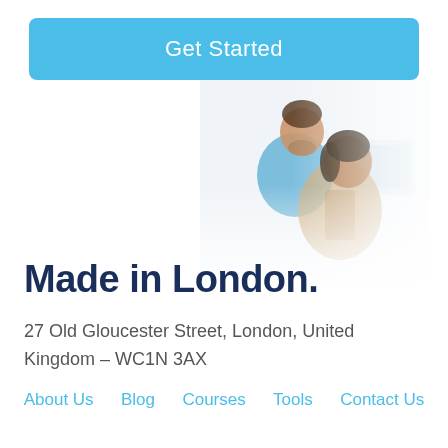Get Started
[Figure (photo): Two people, a man standing and a woman seated, looking at a laptop screen together in an office/learning environment.]
Made in London.
27 Old Gloucester Street, London, United Kingdom – WC1N 3AX
About Us
Blog
Courses
Tools
Contact Us